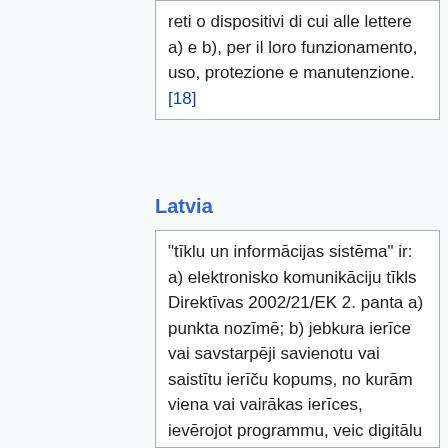reti o dispositivi di cui alle lettere a) e b), per il loro funzionamento, uso, protezione e manutenzione. [18]
Latvia
“tīklu un informācijas sistēma” ir: a) elektronisko komunikāciju tīkls Direktīvas 2002/21/EK 2. panta a) punkta nozīmē; b) jebkura ierīce vai savstarpēji savienotu vai saistītu ierīču kopums, no kurām viena vai vairākas ierīces, ievērojot programmu, veic digitālu datu automātisku apstrādi; vai c)